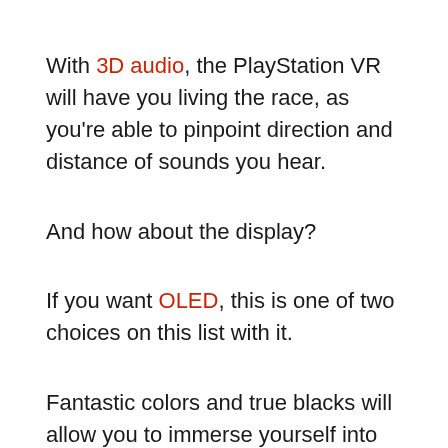With 3D audio, the PlayStation VR will have you living the race, as you're able to pinpoint direction and distance of sounds you hear.
And how about the display?
If you want OLED, this is one of two choices on this list with it.
Fantastic colors and true blacks will allow you to immerse yourself into the racing world. You'll feel like you're racing right next to Vin Diesel himself!